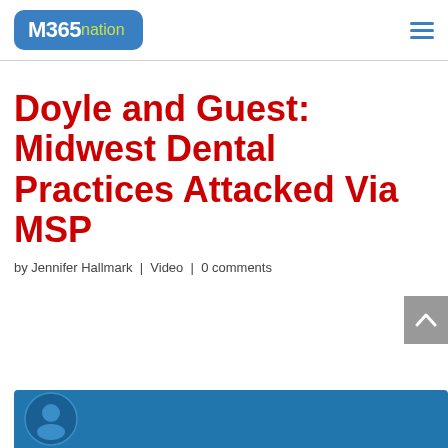M365nation
Doyle and Guest: Midwest Dental Practices Attacked Via MSP
by Jennifer Hallmark | Video | 0 comments
[Figure (screenshot): Partial thumbnail of a video, showing a blue background with a partial logo/graphic at the bottom of the page]